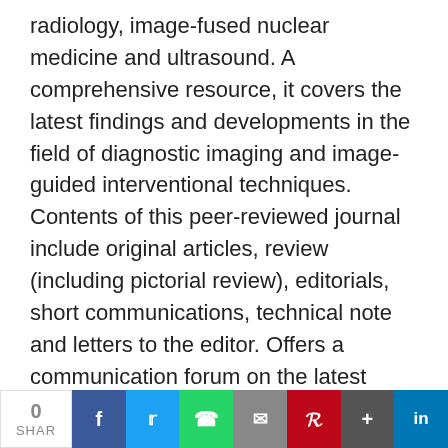radiology, image-fused nuclear medicine and ultrasound. A comprehensive resource, it covers the latest findings and developments in the field of diagnostic imaging and image-guided interventional techniques. Contents of this peer-reviewed journal include original articles, review (including pictorial review), editorials, short communications, technical note and letters to the editor. Offers a communication forum on the latest findings and developments An international Editorial Board consists of radiol...
24) Nature reviews rheumatology
Publisher Nature Publishing Group
Nature reviews Rheumatology – Nature